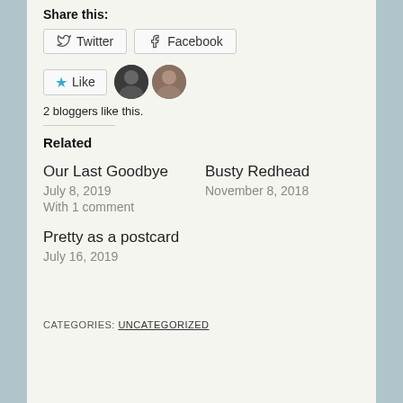Share this:
[Figure (screenshot): Share buttons for Twitter and Facebook]
[Figure (screenshot): Like button with star icon and two blogger avatar photos]
2 bloggers like this.
Related
Our Last Goodbye
July 8, 2019
With 1 comment
Busty Redhead
November 8, 2018
Pretty as a postcard
July 16, 2019
CATEGORIES: UNCATEGORIZED